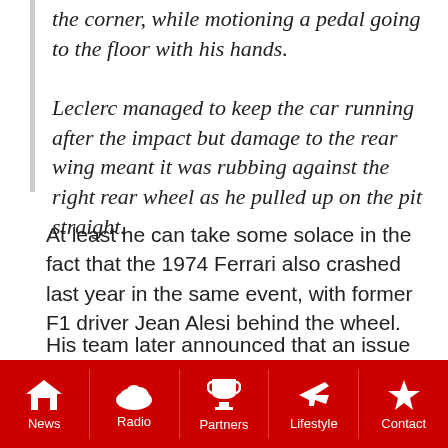the corner, while motioning a pedal going to the floor with his hands.
Leclerc managed to keep the car running after the impact but damage to the rear wing meant it was rubbing against the right rear wheel as he pulled up on the pit straight.
At least he can take some solace in the fact that the 1974 Ferrari also crashed last year in the same event, with former F1 driver Jean Alesi behind the wheel.
His team later announced that an issue with the car's brakes caused the crash. At least Leclerc had a laugh about it on social media:
News | Radio | Partners | Lifestyle | Contact